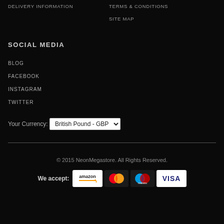DELIVERY INFORMATION
TERMS & CONDITIONS
SITE MAP
SOCIAL MEDIA
BLOG
FACEBOOK
INSTAGRAM
TWITTER
Your Currency: British Pound - GBP
© 2015 NeonMegastore. All Rights Reserved.
[Figure (other): Payment method icons: Amazon, MasterCard, Maestro, Visa]